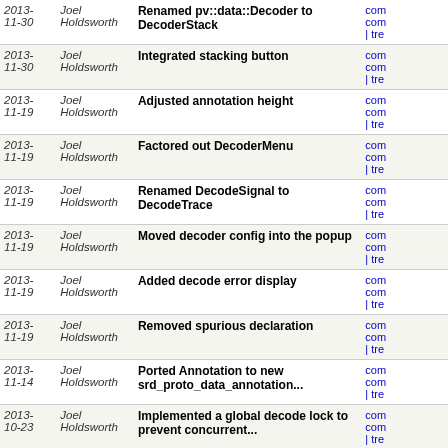| Date | Author | Message | Links |
| --- | --- | --- | --- |
| 2013-
11-30 | Joel
Holdsworth | Renamed pv::data::Decoder to DecoderStack | com com | tre |
| 2013-
11-30 | Joel
Holdsworth | Integrated stacking button | com com | tre |
| 2013-
11-19 | Joel
Holdsworth | Adjusted annotation height | com com | tre |
| 2013-
11-19 | Joel
Holdsworth | Factored out DecoderMenu | com com | tre |
| 2013-
11-19 | Joel
Holdsworth | Renamed DecodeSignal to DecodeTrace | com com | tre |
| 2013-
11-19 | Joel
Holdsworth | Moved decoder config into the popup | com com | tre |
| 2013-
11-19 | Joel
Holdsworth | Added decode error display | com com | tre |
| 2013-
11-19 | Joel
Holdsworth | Removed spurious declaration | com com | tre |
| 2013-
11-14 | Joel
Holdsworth | Ported Annotation to new srd_proto_data_annotation... | com com | tre |
| 2013-
10-23 | Joel
Holdsworth | Implemented a global decode lock to prevent concurrent... | com com | tre |
| 2013-
10-23 | Joel
Holdsworth | Moved all srd commands into decode thread, implemented... | com com | tre |
| 2013-
10-23 | Joel
Holdsworth | Modified Decode to only use LogicSignals | com com | tre |
| 2013-
10-15 | Joel
Holdsworth | Destroy the decode session after use | com com | tre |
| 2013- | Joel | Added initial decoder unit test | com |